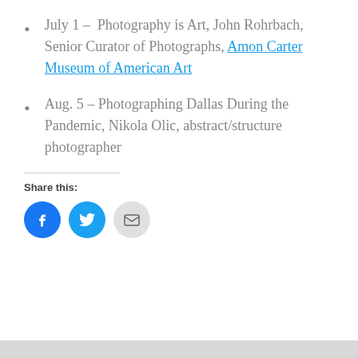July 1 – Photography is Art, John Rohrbach, Senior Curator of Photographs, Amon Carter Museum of American Art
Aug. 5 – Photographing Dallas During the Pandemic, Nikola Olic, abstract/structure photographer
Share this:
[Figure (infographic): Three circular social share buttons: Facebook (blue with 'f' icon), Twitter (blue with bird icon), Email (light gray with envelope icon)]